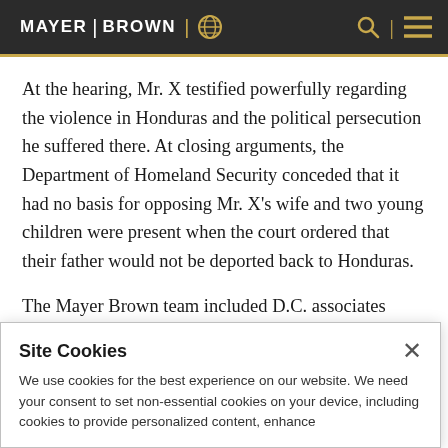MAYER | BROWN
At the hearing, Mr. X testified powerfully regarding the violence in Honduras and the political persecution he suffered there. At closing arguments, the Department of Homeland Security conceded that it had no basis for opposing Mr. X’s application and orally waived its right to appeal. Mr. X’s wife and two young children were present when the court ordered that their father would not be deported back to Honduras.
The Mayer Brown team included D.C. associates
Site Cookies
We use cookies for the best experience on our website. We need your consent to set non-essential cookies on your device, including cookies to provide personalized content, enhance